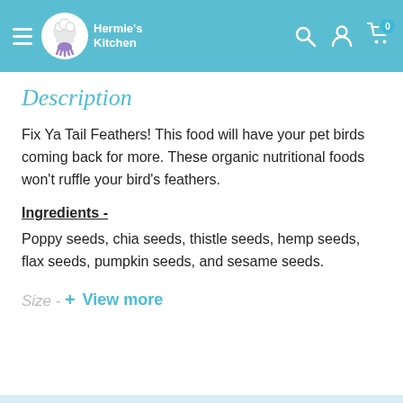Hermie's Kitchen
Description
Fix Ya Tail Feathers! This food will have your pet birds coming back for more. These organic nutritional foods won't ruffle your bird's feathers.
Ingredients -
Poppy seeds, chia seeds, thistle seeds, hemp seeds, flax seeds, pumpkin seeds, and sesame seeds.
Size -
+ View more